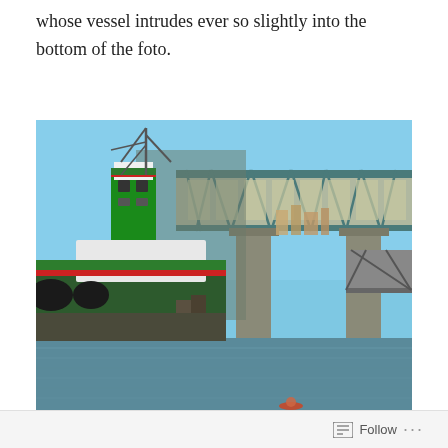whose vessel intrudes ever so slightly into the bottom of the foto.
[Figure (photo): A green tugboat named 'GLOENARRES' docked near an industrial waterway, with a large raised steel bridge structure overhead. City skyline visible in the background through the bridge opening. Water reflects the scene. A small kayaker is barely visible at the bottom of the photo.]
Follow ...